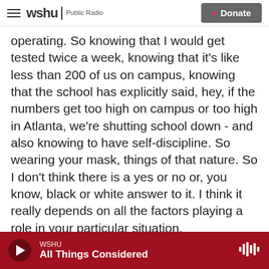wshu Public Radio | Donate
operating. So knowing that I would get tested twice a week, knowing that it's like less than 200 of us on campus, knowing that the school has explicitly said, hey, if the numbers get too high on campus or too high in Atlanta, we're shutting school down - and also knowing to have self-discipline. So wearing your mask, things of that nature. So I don't think there is a yes or no or, you know, black or white answer to it. I think it really depends on all the factors playing a role in your particular situation.
CORNISH: The next question is actually about selecting a school, and it comes from Logan
WSHU All Things Considered